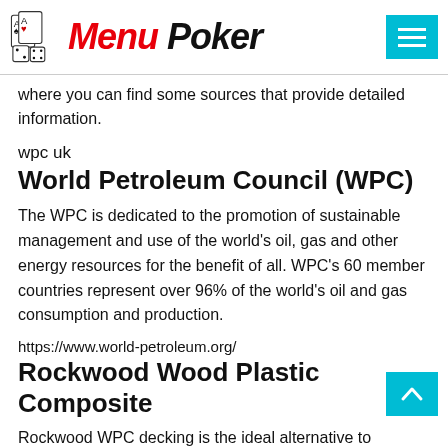Menu Poker
where you can find some sources that provide detailed information.
wpc uk
World Petroleum Council (WPC)
The WPC is dedicated to the promotion of sustainable management and use of the world's oil, gas and other energy resources for the benefit of all. WPC's 60 member countries represent over 96% of the world's oil and gas consumption and production.
https://www.world-petroleum.org/
Rockwood Wood Plastic Composite
Rockwood WPC decking is the ideal alternative to